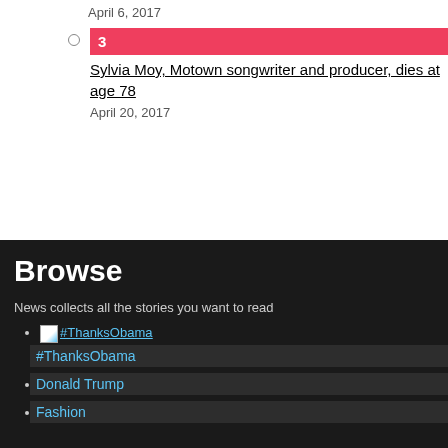April 6, 2017
3 — Sylvia Moy, Motown songwriter and producer, dies at age 78 — April 20, 2017
Browse
News collects all the stories you want to read
#ThanksObama
Donald Trump
Fashion